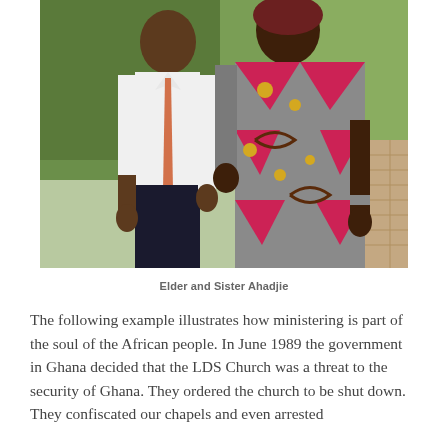[Figure (photo): Photograph of two people standing outdoors. On the left, a man wearing a white dress shirt and an orange/salmon tie with dark trousers. On the right, a woman wearing a colorful African print dress with pink, gray, brown, and gold patterns. Green hedges and a brick pathway are visible in the background.]
Elder and Sister Ahadjie
The following example illustrates how ministering is part of the soul of the African people. In June 1989 the government in Ghana decided that the LDS Church was a threat to the security of Ghana. They ordered the church to be shut down. They confiscated our chapels and even arrested